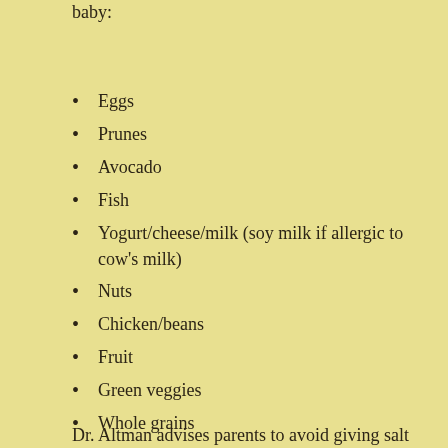baby:
Eggs
Prunes
Avocado
Fish
Yogurt/cheese/milk (soy milk if allergic to cow's milk)
Nuts
Chicken/beans
Fruit
Green veggies
Whole grains
Water
Dr. Altman advises parents to avoid giving salt